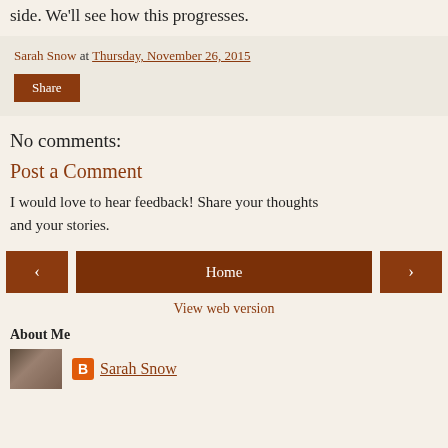side. We'll see how this progresses.
Sarah Snow at Thursday, November 26, 2015
Share
No comments:
Post a Comment
I would love to hear feedback! Share your thoughts and your stories.
‹  Home  ›
View web version
About Me
Sarah Snow